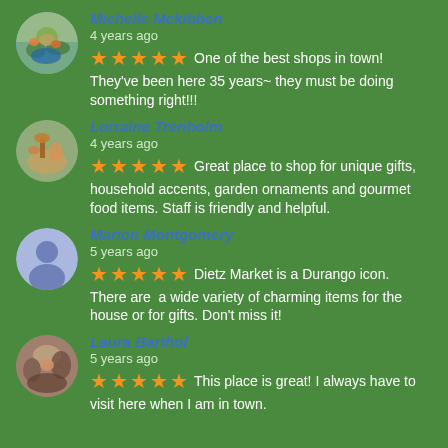Michelle Mckibben
4 years ago
★★★★★ One of the best shops in town! They've been here 35 years~ they must be doing something right!!!
Lorraine Trenholm
4 years ago
★★★★★ Great place to shop for unique gifts, household accents, garden ornaments and gourmet food items. Staff is friendly and helpful.
Marion Montgomery
5 years ago
★★★★★ Dietz Market is a Durango icon. There are  a wide variety of charming items for the house or for gifts. Don't miss it!
Laura Barthol
5 years ago
★★★★★ This place is great! I always have to visit here when I am in town.